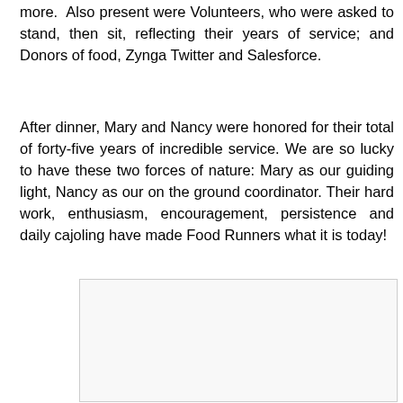more.  Also present were Volunteers, who were asked to stand, then sit, reflecting their years of service; and Donors of food, Zynga Twitter and Salesforce.
After dinner, Mary and Nancy were honored for their total of forty-five years of incredible service. We are so lucky to have these two forces of nature: Mary as our guiding light, Nancy as our on the ground coordinator. Their hard work, enthusiasm, encouragement, persistence and daily cajoling have made Food Runners what it is today!
[Figure (photo): A blank or placeholder image area with light gray background and border]